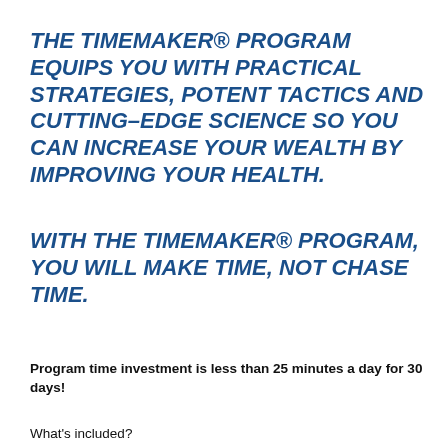THE TIMEMAKER® PROGRAM EQUIPS YOU WITH PRACTICAL STRATEGIES, POTENT TACTICS AND CUTTING–EDGE SCIENCE SO YOU CAN INCREASE YOUR WEALTH BY IMPROVING YOUR HEALTH.
WITH THE TIMEMAKER® PROGRAM, YOU WILL MAKE TIME, NOT CHASE TIME.
Program time investment is less than 25 minutes a day for 30 days!
What's included?